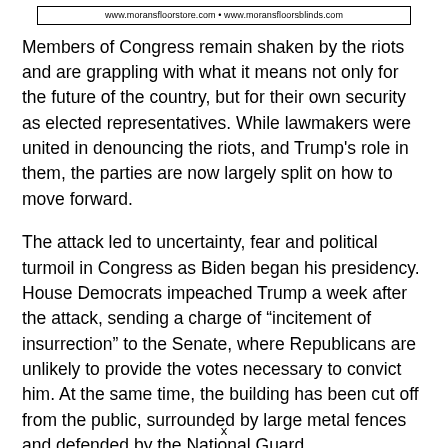www.moransfloorstore.com • www.moransfloorsblinds.com
Members of Congress remain shaken by the riots and are grappling with what it means not only for the future of the country, but for their own security as elected representatives. While lawmakers were united in denouncing the riots, and Trump's role in them, the parties are now largely split on how to move forward.
The attack led to uncertainty, fear and political turmoil in Congress as Biden began his presidency. House Democrats impeached Trump a week after the attack, sending a charge of “incitement of insurrection” to the Senate, where Republicans are unlikely to provide the votes necessary to convict him. At the same time, the building has been cut off from the public, surrounded by large metal fences and defended by the National Guard.
x